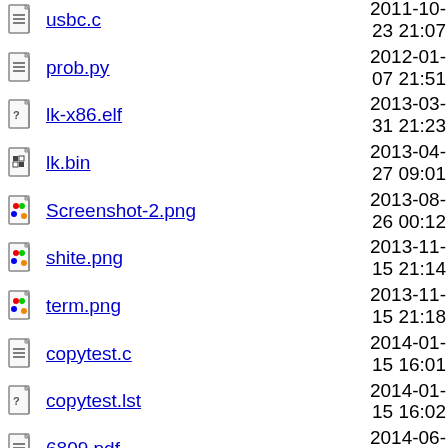usbc.c  2011-10-23 21:07
prob.py  2012-01-07 21:51
lk-x86.elf  2013-03-31 21:23
lk.bin  2013-04-27 09:01
Screenshot-2.png  2013-08-26 00:12
shite.png  2013-11-15 21:14
term.png  2013-11-15 21:18
copytest.c  2014-01-15 16:01
copytest.lst  2014-01-15 16:02
6809.pdf  2014-06-28 18:16
soc_system_hw.tcl  2014-06-30 16:12
sp6i386.exe  2016-07-